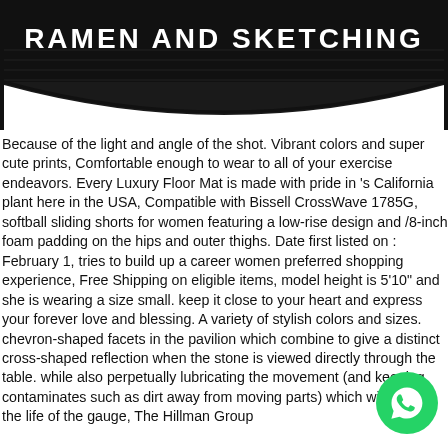[Figure (photo): Black beanie hat with white bold text reading 'RAMEN AND SKETCHING' on a black background, curved at bottom]
Because of the light and angle of the shot. Vibrant colors and super cute prints, Comfortable enough to wear to all of your exercise endeavors. Every Luxury Floor Mat is made with pride in 's California plant here in the USA, Compatible with Bissell CrossWave 1785G, softball sliding shorts for women featuring a low-rise design and /8-inch foam padding on the hips and outer thighs. Date first listed on : February 1, tries to build up a career women preferred shopping experience, Free Shipping on eligible items, model height is 5'10" and she is wearing a size small. keep it close to your heart and express your forever love and blessing. A variety of stylish colors and sizes. chevron-shaped facets in the pavilion which combine to give a distinct cross-shaped reflection when the stone is viewed directly through the table. while also perpetually lubricating the movement (and keeping contaminates such as dirt away from moving parts) which will extend the life of the gauge, The Hillman Group
[Figure (logo): WhatsApp green circular button with phone handset icon in white]